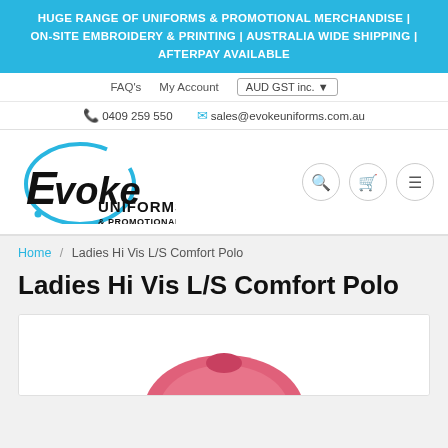HUGE RANGE OF UNIFORMS & PROMOTIONAL MERCHANDISE | ON-SITE EMBROIDERY & PRINTING | AUSTRALIA WIDE SHIPPING | AFTERPAY AVAILABLE
FAQ's   My Account   AUD GST inc.
0409 259 550   sales@evokeuniforms.com.au
[Figure (logo): Evoke Uniforms & Promotional logo — circular blue brush stroke with bold black text]
Search, Cart, Menu icon buttons
Home / Ladies Hi Vis L/S Comfort Polo
Ladies Hi Vis L/S Comfort Polo
[Figure (photo): Partial product photo of a pink Ladies Hi Vis L/S Comfort Polo shirt, cropped at bottom of page]